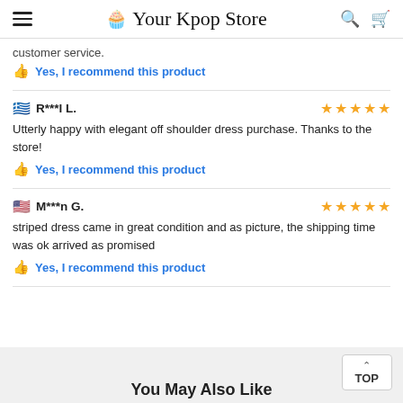Your Kpop Store
customer service.
Yes, I recommend this product
R***l L. — 5 stars — Utterly happy with elegant off shoulder dress purchase. Thanks to the store!
Yes, I recommend this product
M***n G. — 5 stars — striped dress came in great condition and as picture, the shipping time was ok arrived as promised
Yes, I recommend this product
TOP